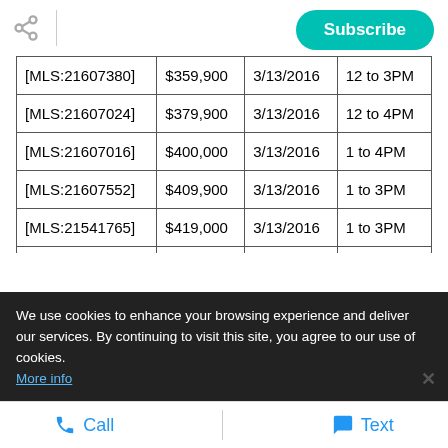Subscribe
| [MLS:21607380] | $359,900 | 3/13/2016 | 12 to 3PM |
| [MLS:21607024] | $379,900 | 3/13/2016 | 12 to 4PM |
| [MLS:21607016] | $400,000 | 3/13/2016 | 1 to 4PM |
| [MLS:21607552] | $409,900 | 3/13/2016 | 1 to 3PM |
| [MLS:21541765] | $419,000 | 3/13/2016 | 1 to 3PM |
| [MLS:21539681] | $430,000 | 3/13/2016 | 1 to 4PM |
| [MLS:21606879] | $434,000 | 3/13/2016 | 12 to 3PM |
We use cookies to enhance your browsing experience and deliver our services. By continuing to visit this site, you agree to our use of cookies. More info
Call   Text